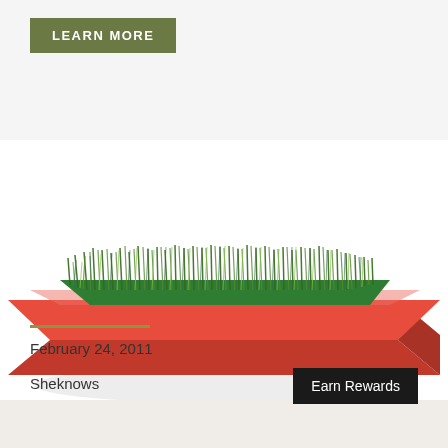LEARN MORE
[Figure (photo): A square red glossy planter box with green grass growing densely on top, photographed on a white background.]
February 24, 2011
Sheknows
Earn Rewards